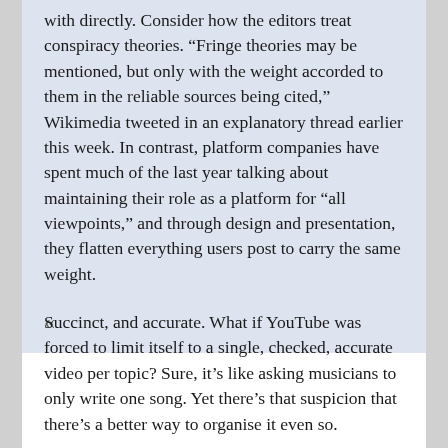with directly. Consider how the editors treat conspiracy theories. “Fringe theories may be mentioned, but only with the weight accorded to them in the reliable sources being cited,” Wikimedia tweeted in an explanatory thread earlier this week. In contrast, platform companies have spent much of the last year talking about maintaining their role as a platform for “all viewpoints,” and through design and presentation, they flatten everything users post to carry the same weight.

«
Succinct, and accurate. What if YouTube was forced to limit itself to a single, checked, accurate video per topic? Sure, it’s like asking musicians to only write one song. Yet there’s that suspicion that there’s a better way to organise it even so.